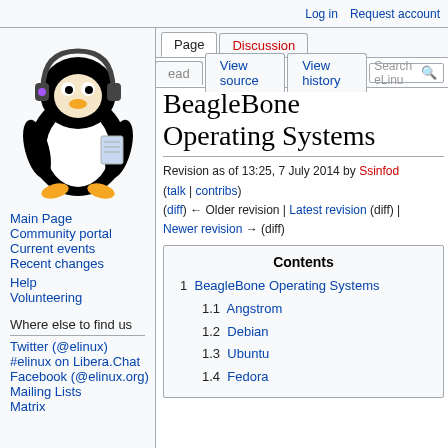Log in  Request account
[Figure (illustration): Tux the Linux penguin mascot wearing headphones and holding a book/notepad]
Main Page
Community portal
Current events
Recent changes
Help
Volunteering
Where else to find us
Twitter (@elinux)
#elinux on Libera.Chat
Facebook (@elinux.org)
Mailing Lists
Matrix
BeagleBone Operating Systems
Revision as of 13:25, 7 July 2014 by Ssinfod (talk | contribs)
(diff) ← Older revision | Latest revision (diff) | Newer revision → (diff)
| Contents |
| --- |
| 1 BeagleBone Operating Systems |
| 1.1 Angstrom |
| 1.2 Debian |
| 1.3 Ubuntu |
| 1.4 Fedora |